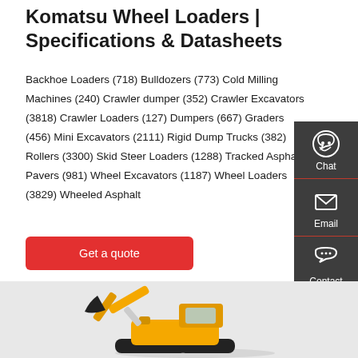Komatsu Wheel Loaders | Specifications & Datasheets
Backhoe Loaders (718) Bulldozers (773) Cold Milling Machines (240) Crawler dumper (352) Crawler Excavators (3818) Crawler Loaders (127) Dumpers (667) Graders (456) Mini Excavators (2111) Rigid Dump Trucks (382) Rollers (3300) Skid Steer Loaders (1288) Tracked Asphalt Pavers (981) Wheel Excavators (1187) Wheel Loaders (3829) Wheeled Asphalt
[Figure (screenshot): Red 'Get a quote' button]
[Figure (photo): Yellow Komatsu excavator/wheel loader machinery photo at bottom of page]
[Figure (infographic): Dark grey side panel with Chat (headset icon), Email (envelope icon), and Contact (speech bubble icon) buttons]